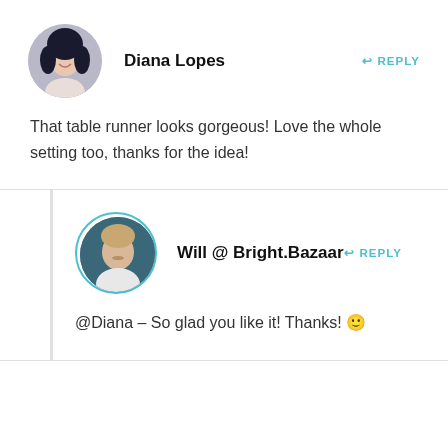[Figure (photo): Circular avatar photo of Diana Lopes, a young woman with dark hair, smiling]
Diana Lopes
REPLY
That table runner looks gorgeous! Love the whole setting too, thanks for the idea!
[Figure (photo): Circular avatar photo of Will, a young man with light hair, with teal circle border]
Will @ Bright.Bazaar
REPLY
@Diana – So glad you like it! Thanks! 🙂